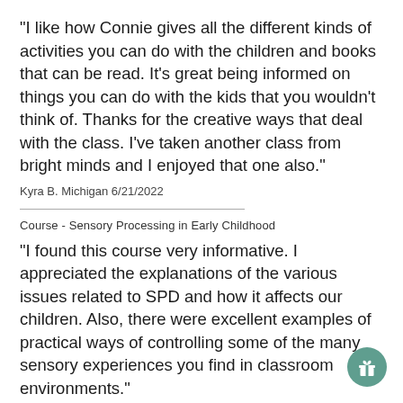"I like how Connie gives all the different kinds of activities you can do with the children and books that can be read. It's great being informed on things you can do with the kids that you wouldn't think of. Thanks for the creative ways that deal with the class. I've taken another class from bright minds and I enjoyed that one also."
Kyra B. Michigan 6/21/2022
Course - Sensory Processing in Early Childhood
"I found this course very informative. I appreciated the explanations of the various issues related to SPD and how it affects our children. Also, there were excellent examples of practical ways of controlling some of the many sensory experiences you find in classroom environments."
Mary H. Kentucky 6/10/2022